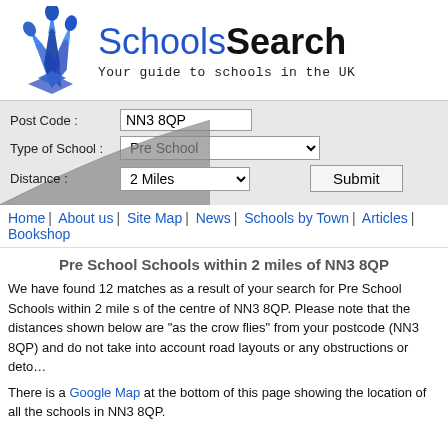[Figure (logo): SchoolsSearch logo with blue dart/pen icon and text 'SchoolsSearch' with tagline 'Your guide to schools in the UK']
[Figure (screenshot): Search form with Post Code field (NN3 8QP), Type of School dropdown (Pre School), Distance dropdown (2 Miles), and Submit button. Decorative stacked papers image in background.]
Home | About us | Site Map | News | Schools by Town | Articles | Bookshop
Pre School Schools within 2 miles of NN3 8QP
We have found 12 matches as a result of your search for Pre School Schools within 2 miles of the centre of NN3 8QP. Please note that the distances shown below are "as the crow flies" from your postcode (NN3 8QP) and do not take into account road layouts or any obstructions or detours.
There is a Google Map at the bottom of this page showing the location of all the schools in NN3 8QP.